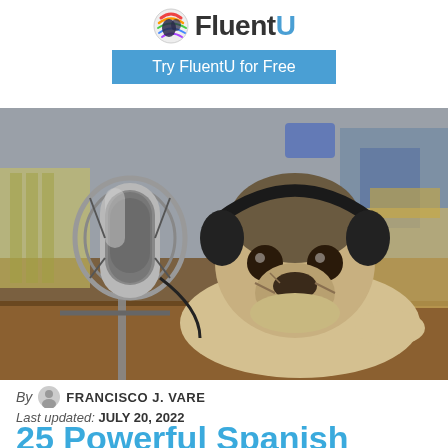[Figure (logo): FluentU logo with colorful globe icon and bold 'FluentU' text]
Try FluentU for Free
[Figure (photo): A pug dog wearing headphones sitting in front of a studio microphone on a table]
By FRANCISCO J. VARE
Last updated: JULY 20, 2022
25 Powerful Spanish